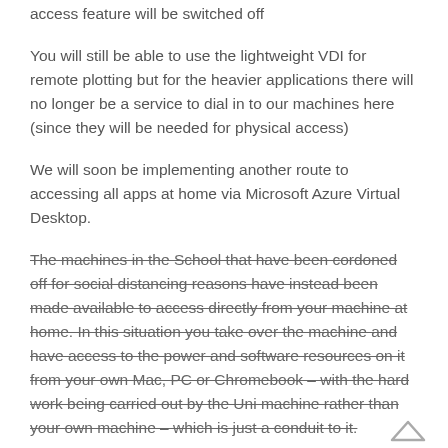access feature will be switched off
You will still be able to use the lightweight VDI for remote plotting but for the heavier applications there will no longer be a service to dial in to our machines here (since they will be needed for physical access)
We will soon be implementing another route to accessing all apps at home via Microsoft Azure Virtual Desktop.
The machines in the School that have been cordoned off for social distancing reasons have instead been made available to access directly from your machine at home. In this situation you take over the machine and have access to the power and software resources on it from your own Mac, PC or Chromebook – with the hard work being carried out by the Uni machine rather than your own machine – which is just a conduit to it.